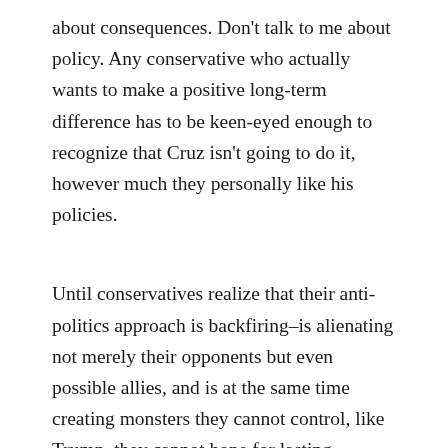about consequences. Don't talk to me about policy. Any conservative who actually wants to make a positive long-term difference has to be keen-eyed enough to recognize that Cruz isn't going to do it, however much they personally like his policies.
Until conservatives realize that their anti-politics approach is backfiring–is alienating not merely their opponents but even possible allies, and is at the same time creating monsters they cannot control, like Trump–they cannot hope for lasting political (or indeed cultural) success on any front. And it is for this reason that I think a Trump nomination would in many ways be a better thing for conservatives than a Cruz nomination. It would at least force them to come